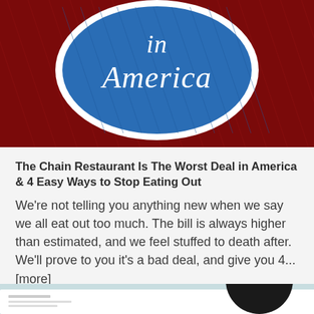[Figure (photo): Book or sign cover showing 'in America' text in cursive on a blue and red patriotic design]
The Chain Restaurant Is The Worst Deal in America & 4 Easy Ways to Stop Eating Out
We're not telling you anything new when we say we all eat out too much. The bill is always higher than estimated, and we feel stuffed to death after. We'll prove to you it's a bad deal, and give you 4... [more]
[Figure (screenshot): Screenshot of a website/app interface with a chat bubble overlay and a person with glasses in a black and white photo background]